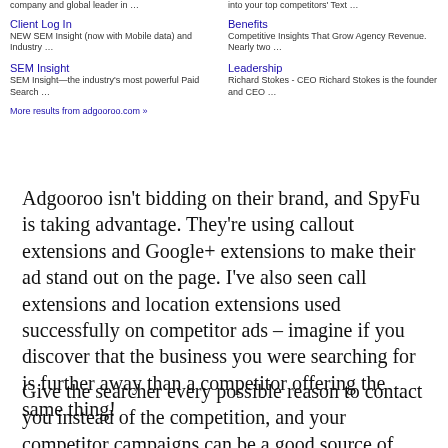[Figure (screenshot): Screenshot of Google search results showing sitelinks for adgooroo.com including Client Log In, SEM Insight, Benefits, and Leadership links with descriptions, plus 'More results from adgooroo.com' link]
Adgooroo isn't bidding on their brand, and SpyFu is taking advantage. They're using callout extensions and Google+ extensions to make their ad stand out on the page. I've also seen call extensions and location extensions used successfully on competitor ads – imagine if you discover that the business you were searching for is further away than a competitor offering the same thing!
Give the searcher every possible reason to contact you instead of the competition, and your competitor campaigns can be a good source of quality traffic